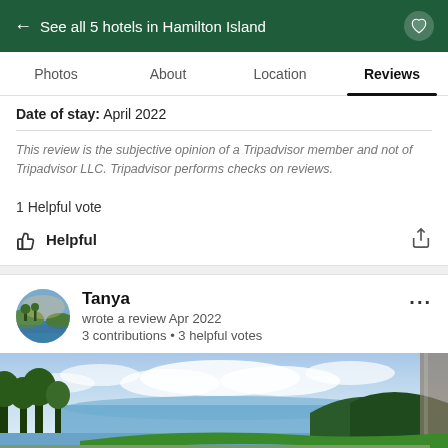← See all 5 hotels in Hamilton Island
Photos  About  Location  Reviews
Date of stay: April 2022
This review is the subjective opinion of a Tripadvisor member and not of Tripadvisor LLC. Tripadvisor performs checks on reviews.
1 Helpful vote
Helpful
Tanya
wrote a review Apr 2022
3 contributions • 3 helpful votes
[Figure (photo): Panoramic photo of infinity pool overlooking tropical ocean and mountain scenery with lush green trees and blue sky with clouds]